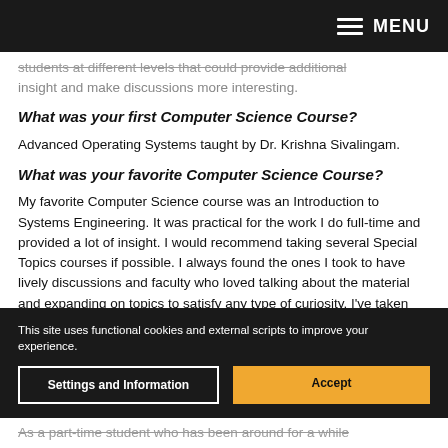MENU
students at different levels that could provide additional insight and make discussions more interesting.
What was your first Computer Science Course?
Advanced Operating Systems taught by Dr. Krishna Sivalingam.
What was your favorite Computer Science Course?
My favorite Computer Science course was an Introduction to Systems Engineering. It was practical for the work I do full-time and provided a lot of insight. I would recommend taking several Special Topics courses if possible. I always found the ones I took to have lively discussions and faculty who loved talking about the material and expanding on topics to satisfy any type of curiosity. I've taken two: Parallel Computing and Semantic Web.
This site uses functional cookies and external scripts to improve your experience.
Settings and Information
Accept
As a part-time student who has been around for a while